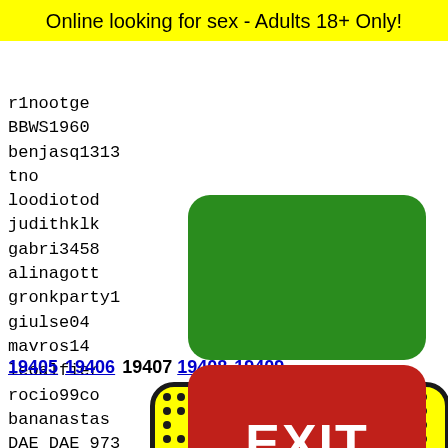Online looking for sex - Adults 18+ Only!
r1nootge
BBWS1960
benjasq1313
tno
loodiotod
judithklk
gabri3458
alinagott
gronkparty1
giulse04
mavros14
leoalfier
rocio99co
bananastas
DAE_DAE_973
sofiafacchinetti
alitea
JillyV
shennel1985
Poisinivy42B
nicode
ale120
smilin
toro16
NyssaW
talldu
[Figure (other): Green button (no label)]
[Figure (other): Red EXIT button]
19405 19406 19407 19408 19409
[Figure (other): Snapchat ghost logo on yellow background with black dots pattern]